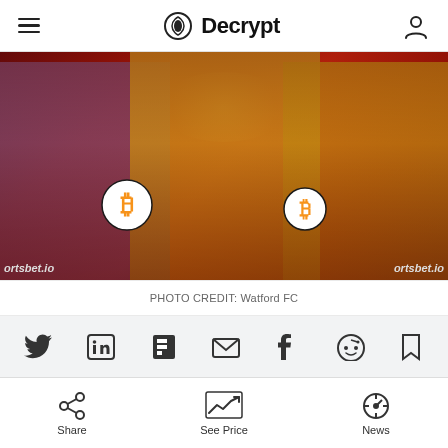Decrypt
[Figure (photo): Three Watford FC football players in yellow and orange/purple jerseys with Bitcoin logos on sleeves and sportsbet.io branding, against a red atmospheric stadium background]
PHOTO CREDIT: Watford FC
[Figure (infographic): Social share icons row: Twitter, LinkedIn, Flipboard, Email, Facebook, Reddit, Bookmark]
[Figure (infographic): Decorative squiggle/wave divider]
Share  See Price  News